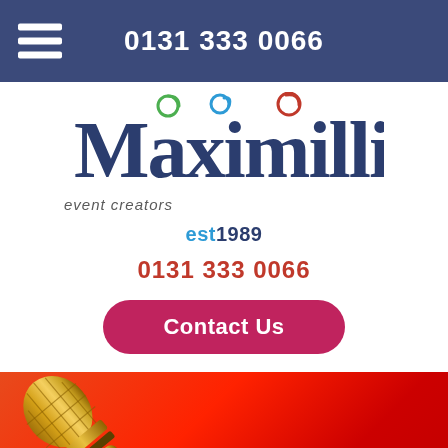0131 333 0066
[Figure (logo): Maximillion event creators logo with colorful swirl accents]
est1989
0131 333 0066
Contact Us
[Figure (photo): Gold microphone against a red gradient background]